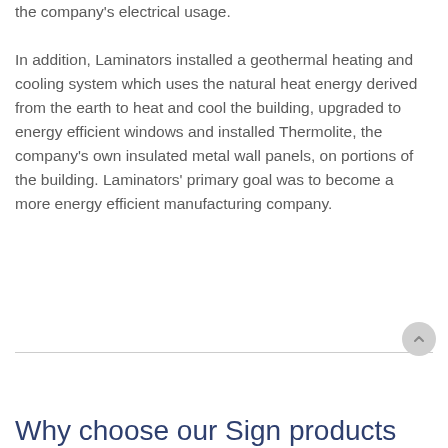the company's electrical usage.
In addition, Laminators installed a geothermal heating and cooling system which uses the natural heat energy derived from the earth to heat and cool the building, upgraded to energy efficient windows and installed Thermolite, the company's own insulated metal wall panels, on portions of the building. Laminators' primary goal was to become a more energy efficient manufacturing company.
Why choose our Sign products